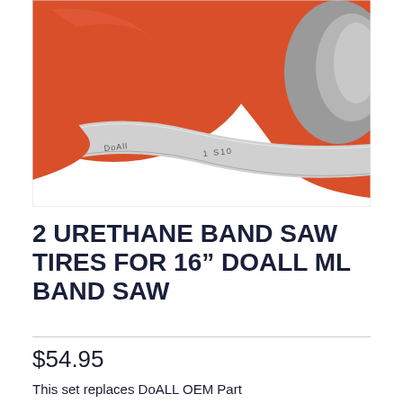[Figure (photo): Close-up photo of orange urethane band saw tires on a metal wheel/hub, showing engraved text on the metal rim, against a white background.]
2 URETHANE BAND SAW TIRES FOR 16" DOALL ML BAND SAW
$54.95
This set replaces DoALL OEM Part